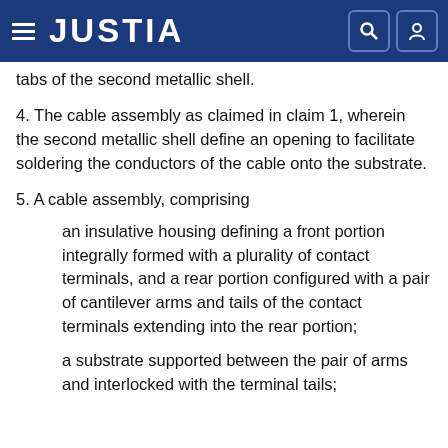JUSTIA
tabs of the second metallic shell.
4. The cable assembly as claimed in claim 1, wherein the second metallic shell define an opening to facilitate soldering the conductors of the cable onto the substrate.
5. A cable assembly, comprising
an insulative housing defining a front portion integrally formed with a plurality of contact terminals, and a rear portion configured with a pair of cantilever arms and tails of the contact terminals extending into the rear portion;
a substrate supported between the pair of arms and interlocked with the terminal tails;